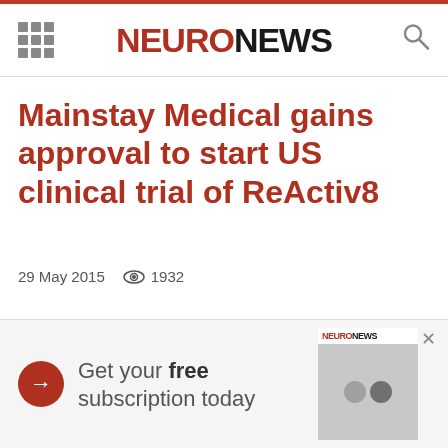NEURONEWS
Mainstay Medical gains approval to start US clinical trial of ReActiv8
29 May 2015   1932
[Figure (infographic): Advertisement banner: red arrow circle, text 'Get your free subscription today', NeuroNews magazine image on the right, close X button]